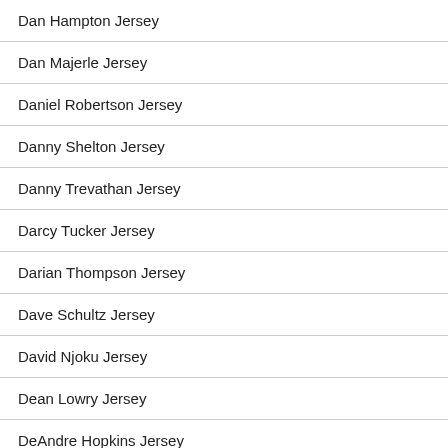Dan Hampton Jersey
Dan Majerle Jersey
Daniel Robertson Jersey
Danny Shelton Jersey
Danny Trevathan Jersey
Darcy Tucker Jersey
Darian Thompson Jersey
Dave Schultz Jersey
David Njoku Jersey
Dean Lowry Jersey
DeAndre Hopkins Jersey